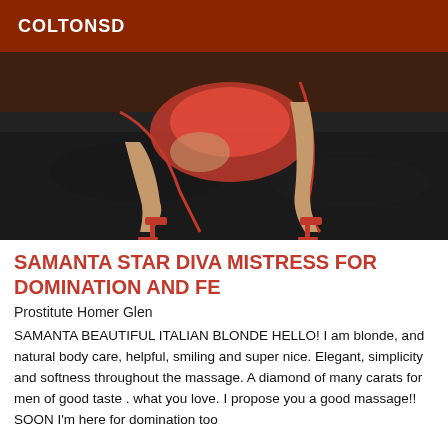COLTONSD
[Figure (photo): Woman in red dress and red high heels posing on a dark leather couch]
SAMANTA STAR DIVA MISTRESS FOR DOMINATION AND FE
Prostitute Homer Glen
SAMANTA BEAUTIFUL ITALIAN BLONDE HELLO! I am blonde, and natural body care, helpful, smiling and super nice. Elegant, simplicity and softness throughout the massage. A diamond of many carats for men of good taste . what you love. I propose you a good massage!! SOON I'm here for domination too